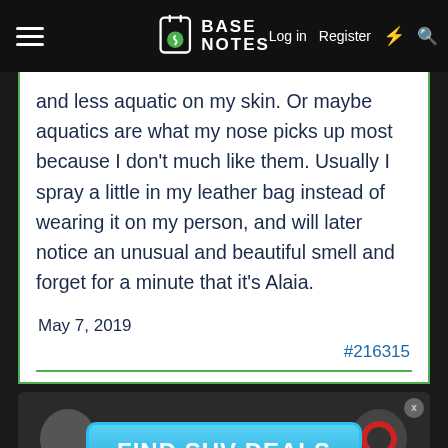BASE NOTES — Log in  Register
and less aquatic on my skin. Or maybe aquatics are what my nose picks up most because I don't much like them. Usually I spray a little in my leather bag instead of wearing it on my person, and will later notice an unusual and beautiful smell and forget for a minute that it's Alaia.
May 7, 2019
#216315
[Figure (screenshot): Advertisement banner showing 'FIND SUV DEALS' button with decorative figures on each side]